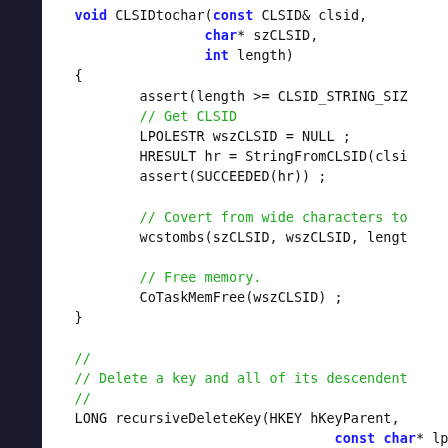[Figure (screenshot): Source code screenshot showing C++ functions CLSIDtochar and recursiveDeleteKey with syntax highlighting: keywords in blue, comments in green, code in black, on white background with dark left sidebar.]